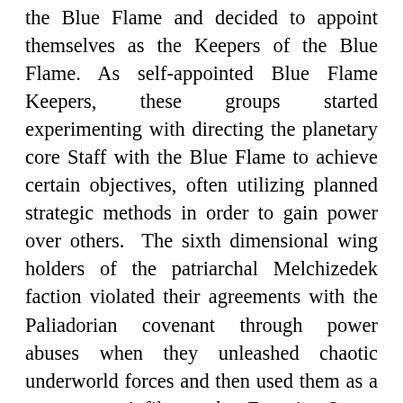... thus gained guardianship over the spiritual power of the Blue Flame and decided to appoint themselves as the Keepers of the Blue Flame. As self-appointed Blue Flame Keepers, these groups started experimenting with directing the planetary core Staff with the Blue Flame to achieve certain objectives, often utilizing planned strategic methods in order to gain power over others.  The sixth dimensional wing holders of the patriarchal Melchizedek faction violated their agreements with the Paliadorian covenant through power abuses when they unleashed chaotic underworld forces and then used them as a weapon to infiltrate the Egyptian-Serres culture on Tara. The Egyptian-Serres human tribe acted as the rod and staff holders that synthesized the unity code between the twelve tribes to hold the Universal Tribal shield. This power grab made by the patriarchal Melchizedeks contributed to the ultimate destruction of the planet Tara and the disintegration of the ... antiblue flame staff...